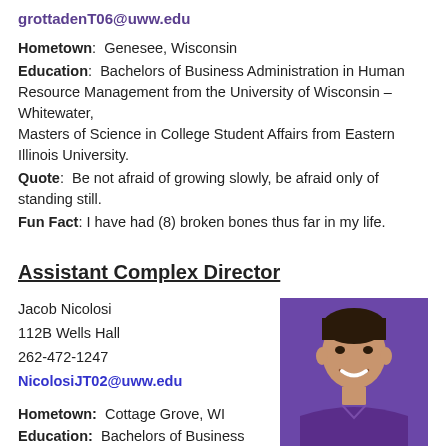grottadenT06@uww.edu
Hometown: Genesee, Wisconsin
Education: Bachelors of Business Administration in Human Resource Management from the University of Wisconsin – Whitewater, Masters of Science in College Student Affairs from Eastern Illinois University.
Quote: Be not afraid of growing slowly, be afraid only of standing still.
Fun Fact: I have had (8) broken bones thus far in my life.
Assistant Complex Director
Jacob Nicolosi
112B Wells Hall
262-472-1247
NicolosiJT02@uww.edu
[Figure (photo): Headshot of Jacob Nicolosi wearing a purple polo shirt against a purple background]
Hometown: Cottage Grove, WI
Education: Bachelors of Business